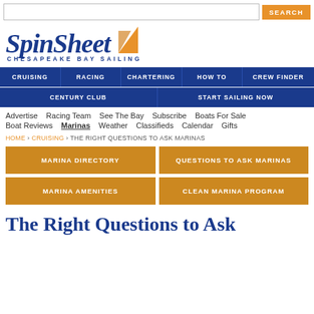SEARCH
[Figure (logo): SpinSheet Chesapeake Bay Sailing logo with sail graphic]
CRUISING | RACING | CHARTERING | HOW TO | CREW FINDER | CENTURY CLUB | START SAILING NOW
Advertise  Racing Team  See The Bay  Subscribe  Boats For Sale  Boat Reviews  Marinas  Weather  Classifieds  Calendar  Gifts
HOME > CRUISING > THE RIGHT QUESTIONS TO ASK MARINAS
MARINA DIRECTORY | QUESTIONS TO ASK MARINAS | MARINA AMENITIES | CLEAN MARINA PROGRAM
The Right Questions to Ask